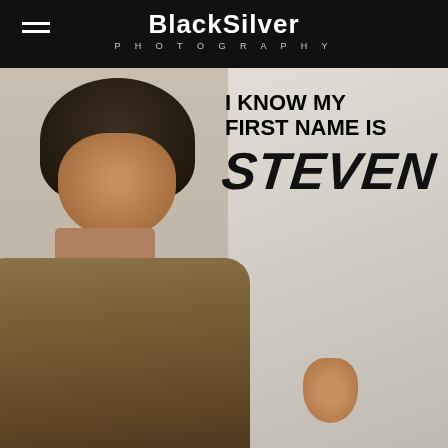BlackSilver PHOTOGRAPHY
[Figure (photo): A young boy in a brown jacket writing his name on a wall. Text overlay reads: I KNOW MY FIRST NAME IS STEVEN]
I KNOW MY FIRST NAME IS STEVEN